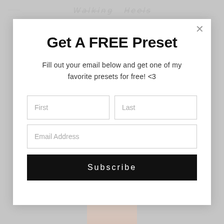[Figure (screenshot): Website background showing a partial header with decorative script text and a photo of a person in a light pink/peach outfit visible at the bottom]
Get A FREE Preset
Fill out your email below and get one of my favorite presets for free! <3
First | Last (form fields)
Email Address (form field)
Subscribe (button)